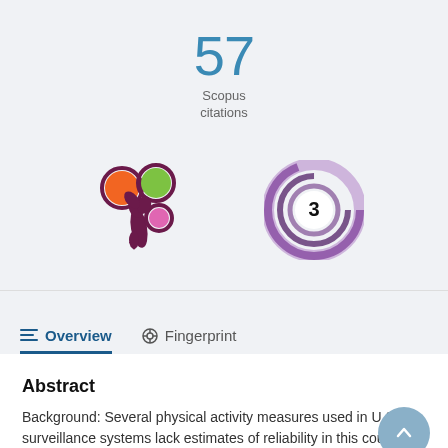57
Scopus citations
[Figure (logo): Altmetric flower badge showing colored circles (orange, green, purple) arranged in a flower/splash pattern on a dark purple stalk]
[Figure (infographic): PlumX metrics donut badge showing the number 3 in a white circle surrounded by purple gradient rings]
Overview
Fingerprint
Abstract
Background: Several physical activity measures used in U.S. surveillance systems lack estimates of reliability in this country.